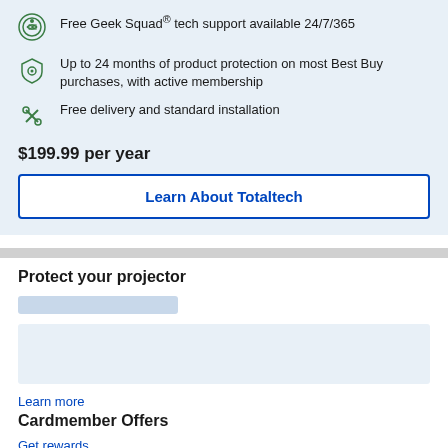Free Geek Squad® tech support available 24/7/365
Up to 24 months of product protection on most Best Buy purchases, with active membership
Free delivery and standard installation
$199.99 per year
Learn About Totaltech
Protect your projector
Learn more
Cardmember Offers
Get rewards